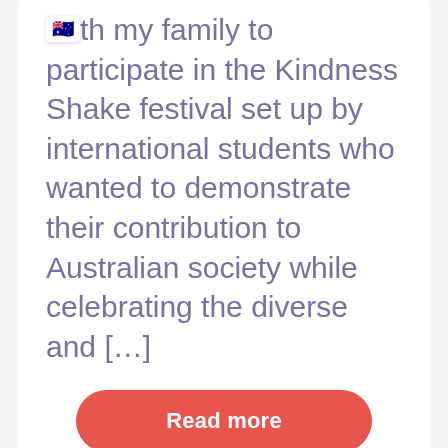the 🇦🇺 th my family to participate in the Kindness Shake festival set up by international students who wanted to demonstrate their contribution to Australian society while celebrating the diverse and […]
Read more